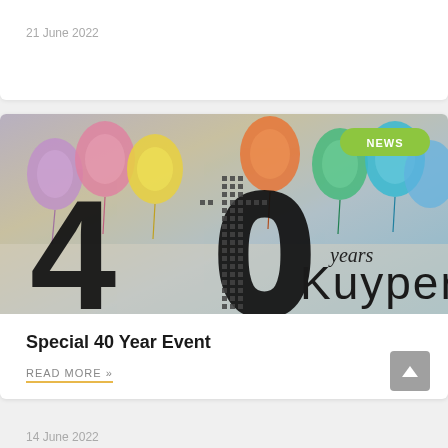21 June 2022
[Figure (photo): Photo showing colorful balloons with a large '40 years Kuyper' logo overlay. A green 'NEWS' badge is visible in the top right corner.]
Special 40 Year Event
READ MORE »
14 June 2022